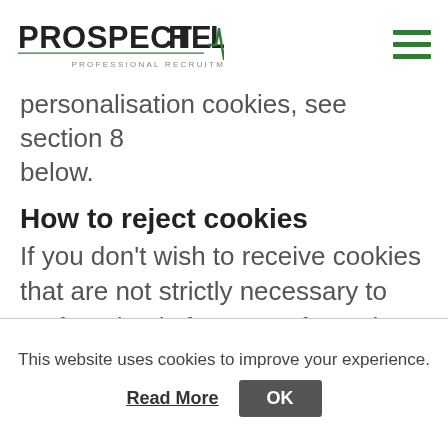PROSPECTHEALTH PROFESSIONAL RECRUITMENT
personalisation cookies, see section 8 below.
How to reject cookies
If you don’t wish to receive cookies that are not strictly necessary to perform basic features of our site you may choose to opt out of them by selecting the appropriate box on the top right hand side of this page.
This website uses cookies to improve your experience.
Read More   OK